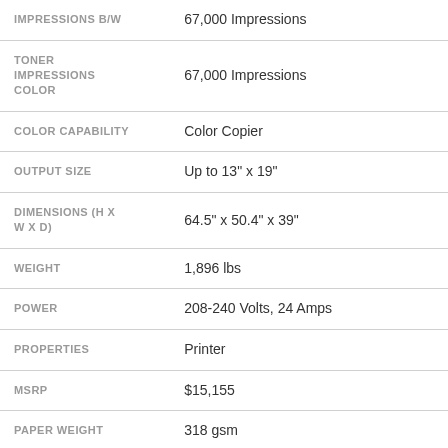| Specification | Value |
| --- | --- |
| IMPRESSIONS B/W | 67,000 Impressions |
| TONER IMPRESSIONS COLOR | 67,000 Impressions |
| COLOR CAPABILITY | Color Copier |
| OUTPUT SIZE | Up to 13" x 19" |
| DIMENSIONS (H X W X D) | 64.5" x 50.4" x 39" |
| WEIGHT | 1,896 lbs |
| POWER | 208-240 Volts, 24 Amps |
| PROPERTIES | Printer |
| MSRP | $15,155 |
| PAPER WEIGHT | 318 gsm |